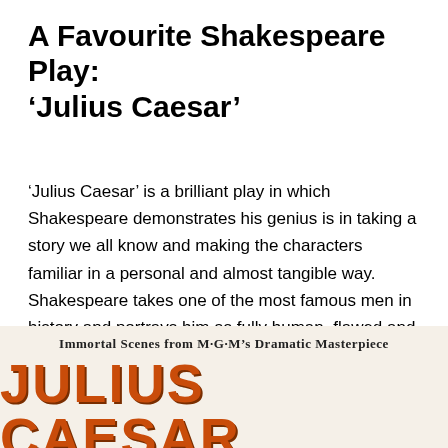A Favourite Shakespeare Play: ‘Julius Caesar’
‘Julius Caesar’ is a brilliant play in which Shakespeare demonstrates his genius is in taking a story we all know and making the characters familiar in a personal and almost tangible way. Shakespeare takes one of the most famous men in history and portrays him as fully human, flawed and even vulnerable in different ways. It’s not the way we’re accustomed to thinking about ‘historical giants’ like Caesar., but Shakespeare makes it all seem quite natural.
[Figure (illustration): Movie poster image for Julius Caesar by MGM, showing text 'Immortal Scenes from M-G-M's Dramatic Masterpiece' above large bold orange text 'JULIUS CAESAR']